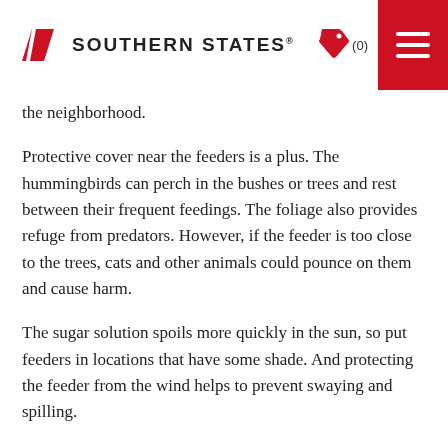Southern States® logo with tag icon (0) and hamburger menu
the neighborhood.
Protective cover near the feeders is a plus. The hummingbirds can perch in the bushes or trees and rest between their frequent feedings. The foliage also provides refuge from predators. However, if the feeder is too close to the trees, cats and other animals could pounce on them and cause harm.
The sugar solution spoils more quickly in the sun, so put feeders in locations that have some shade. And protecting the feeder from the wind helps to prevent swaying and spilling.
Bird lovers usually have at least one feeder near a window,